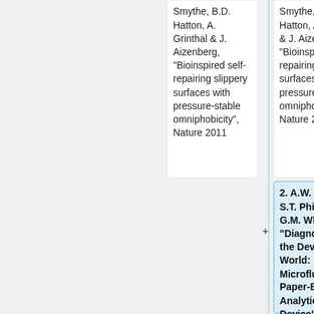Smythe, B.D. Hatton, A. Grinthal & J. Aizenberg, "Bioinspired self-repairing slippery surfaces with pressure-stable omniphobicity", Nature 2011
Smythe, B.D. Hatton, A. Grinthal & J. Aizenberg, "Bioinspired self-repairing slippery surfaces with pressure-stable omniphobicity", Nature 2011
2. A.W. Martinez, S.T. Phillips and G.M. Whitesides, "Diagnostics for the Developing World: Microfluidic Paper-Based Analytical Device", Anal.